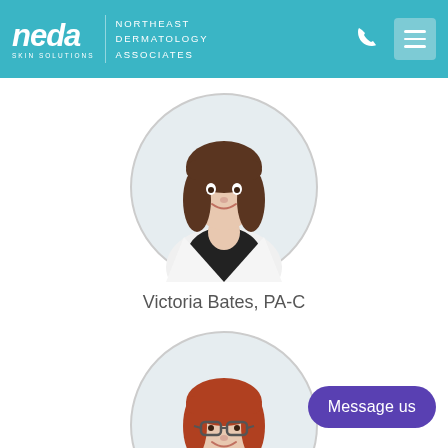[Figure (logo): NEDA Skin Solutions - Northeast Dermatology Associates header logo on teal background with phone icon and hamburger menu]
[Figure (photo): Circular portrait photo of Victoria Bates, PA-C, a woman with brown hair wearing a white coat and black top, smiling]
Victoria Bates, PA-C
[Figure (photo): Circular portrait photo of a woman with red hair wearing glasses, a white coat and black top, smiling]
Message us